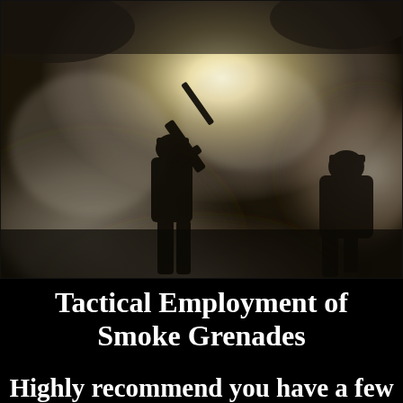[Figure (photo): Dramatic military silhouette photo: a soldier in full gear aiming a rifle upward, surrounded by billowing smoke and fog, with bright sunlight breaking through clouds. A second soldier silhouette is visible to the right. Dark, high-contrast cinematic imagery.]
Tactical Employment of Smoke Grenades
Highly recommend you have a few of